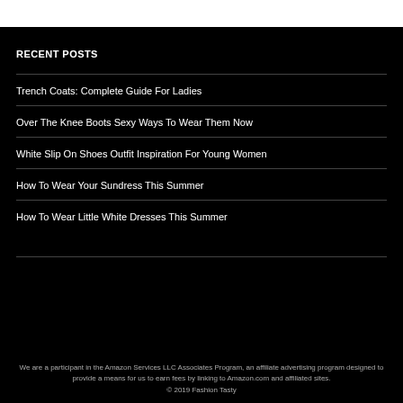RECENT POSTS
Trench Coats: Complete Guide For Ladies
Over The Knee Boots Sexy Ways To Wear Them Now
White Slip On Shoes Outfit Inspiration For Young Women
How To Wear Your Sundress This Summer
How To Wear Little White Dresses This Summer
We are a participant in the Amazon Services LLC Associates Program, an affiliate advertising program designed to provide a means for us to earn fees by linking to Amazon.com and affiliated sites.
© 2019 Fashion Tasty